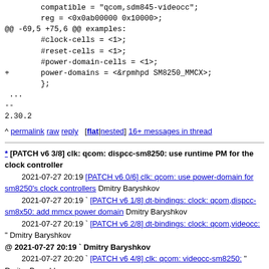compatible = "qcom,sdm845-videocc";
        reg = <0x0ab00000 0x10000>;
@@ -69,5 +75,6 @@ examples:
        #clock-cells = <1>;
        #reset-cells = <1>;
        #power-domain-cells = <1>;
+       power-domains = <&rpmhpd SM8250_MMCX>;
        };
 ...
--
2.30.2
^ permalink raw reply [flat|nested] 16+ messages in thread
* [PATCH v6 3/8] clk: qcom: dispcc-sm8250: use runtime PM for the clock controller
2021-07-27 20:19 [PATCH v6 0/6] clk: qcom: use power-domain for sm8250's clock controllers Dmitry Baryshkov
2021-07-27 20:19 ` [PATCH v6 1/8] dt-bindings: clock: qcom,dispcc-sm8x50: add mmcx power domain Dmitry Baryshkov
2021-07-27 20:19 ` [PATCH v6 2/8] dt-bindings: clock: qcom,videocc: " Dmitry Baryshkov
@ 2021-07-27 20:19 ` Dmitry Baryshkov
2021-07-27 20:20 ` [PATCH v6 4/8] clk: qcom: videocc-sm8250: " Dmitry Baryshkov
(6 subsequent siblings)